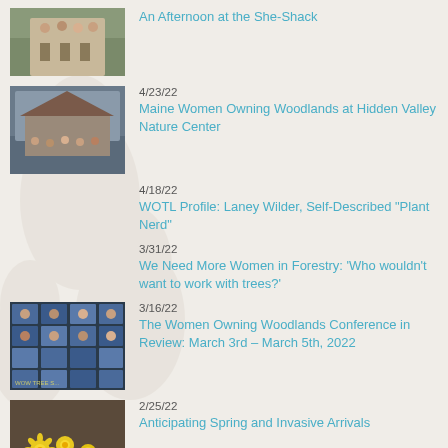[Figure (photo): Group photo of women at the She-Shack]
An Afternoon at the She-Shack
[Figure (photo): Group of women at Hidden Valley Nature Center]
4/23/22
Maine Women Owning Woodlands at Hidden Valley Nature Center
4/18/22
WOTL Profile: Laney Wilder, Self-Described “Plant Nerd”
3/31/22
We Need More Women in Forestry: ‘Who wouldn’t want to work with trees?’
[Figure (photo): Grid of video call participants for the Women Owning Woodlands Conference]
3/16/22
The Women Owning Woodlands Conference in Review: March 3rd – March 5th, 2022
[Figure (photo): Yellow flowers growing among dead leaves - anticipating spring]
2/25/22
Anticipating Spring and Invasive Arrivals
1/30/22
New Mexico Women Deliver Firewood to Seniors
12/21/21